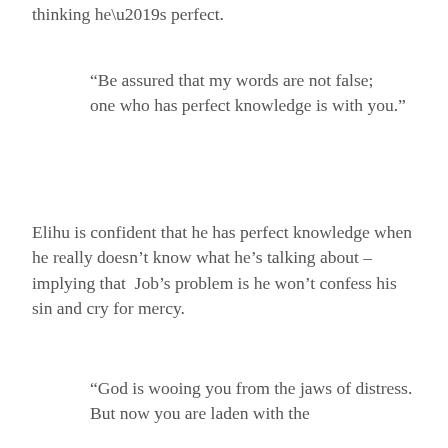thinking he’s perfect.
“Be assured that my words are not false;
one who has perfect knowledge is with you.”
Elihu is confident that he has perfect knowledge when he really doesn’t know what he’s talking about – implying that Job’s problem is he won’t confess his sin and cry for mercy.
“God is wooing you from the jaws of distress.
But now you are laden with the